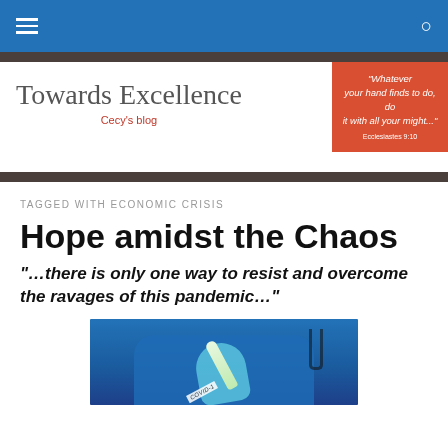Navigation bar with hamburger menu and search icon
Towards Excellence — Cecy's blog
"Whatever your hand finds to do, do it with all your might..." Ecclesiastes 9:10
TAGGED WITH ECONOMIC CRISIS
Hope amidst the Chaos
"...there is only one way to resist and overcome the ravages of this pandemic..."
[Figure (photo): Healthcare worker in blue scrubs and gloves holding a COVID-19 test tube]